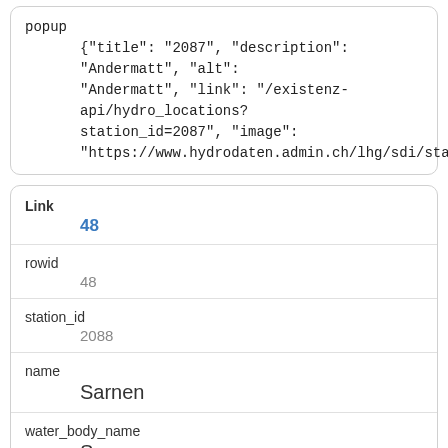popup
    {"title": "2087", "description": "Andermatt", "alt": "Andermatt", "link": "/existenz-api/hydro_locations?station_id=2087", "image": "https://www.hydrodaten.admin.ch/lhg/sdi/station_pic
Link
48
rowid
48
station_id
2088
name
Sarnen
water_body_name
Sarnersee
water_body_type
lake
lat
46.8877